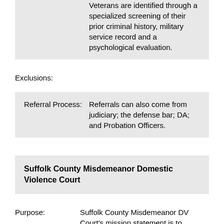Veterans are identified through a specialized screening of their prior criminal history, military service record and a psychological evaluation.
Exclusions:
| Referral Process: |  |
| --- | --- |
| Referral Process: | Referrals can also come from judiciary; the defense bar; DA; and Probation Officers. |
| Suffolk County Misdemeanor Domestic Violence Court |
| --- |
| Purpose: |  |
| --- | --- |
| Purpose: | Suffolk County Misdemeanor DV Court's mission statement is to |